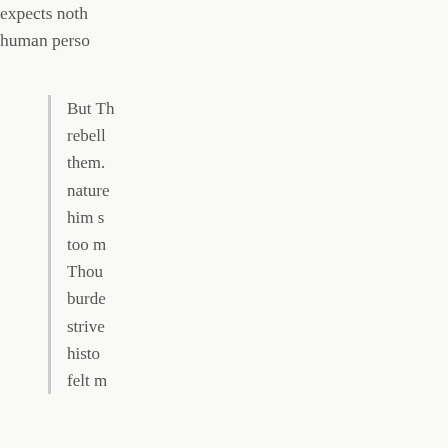expects noth... human perso...
But Th... rebell... them. nature... him s... too m... Thou burd... strive... histo... felt m...
He tells Jesu... Rather than t... state had he...
Hadst... unive... holds... Caesa... Oh, a...